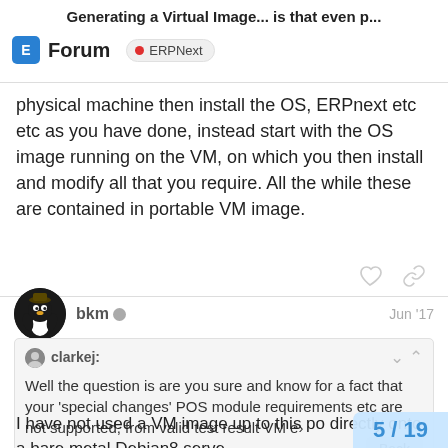Generating a Virtual Image... is that even p...
physical machine then install the OS, ERPnext etc etc as you have done, instead start with the OS image running on the VM, on which you then install and modify all that you require. All the while these are contained in portable VM image.
bkm   Jun '17
clarkej:
Well the question is are you sure and know for a fact that your 'special changes' POS module requirements etc are not supported, from valid test result VM e›    Back
I have not used a VM image up to this po directly onto a bare metal Debian8 serve
5 / 19